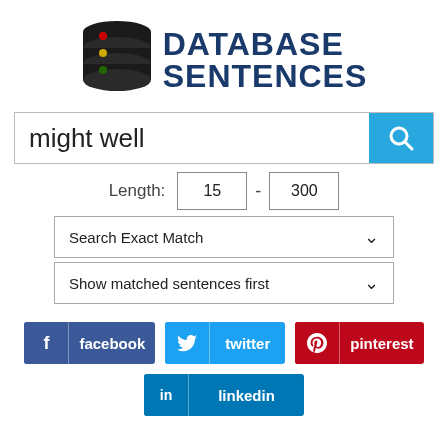[Figure (logo): Database Sentences logo: a black database cylinder icon with red, yellow, green dots on the left, and bold dark blue text 'DATABASE SENTENCES' on the right]
might well
Length: 15 - 300
Search Exact Match
Show matched sentences first
f facebook
twitter
pinterest
in linkedin